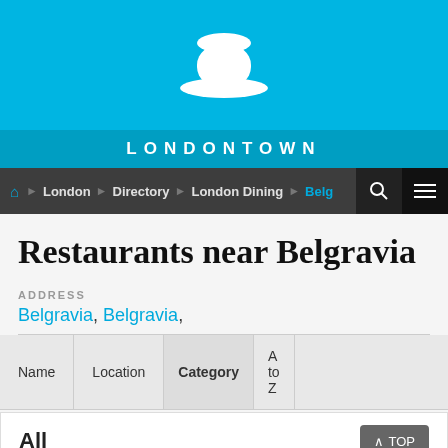[Figure (logo): LondonTown bowler hat logo in white on cyan/blue background with LONDONTOWN text]
LONDONTOWN
Home > London > Directory > London Dining > Belg...
Restaurants near Belgravia
ADDRESS
Belgravia, Belgravia,
| Name | Location | Category | A to Z |
| --- | --- | --- | --- |
All